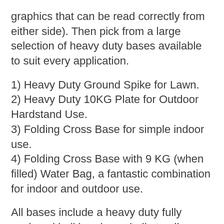graphics that can be read correctly from either side). Then pick from a large selection of heavy duty bases available to suit every application.
1) Heavy Duty Ground Spike for Lawn.
2) Heavy Duty 10KG Plate for Outdoor Hardstand Use.
3) Folding Cross Base for simple indoor use.
4) Folding Cross Base with 9 KG (when filled) Water Bag, a fantastic combination for indoor and outdoor use.
All bases include a heavy duty fully enclosed ball bearing spindle to allow flags to swivel with the wind and our Pole Kits are constructed with strong CE Certified epoxy fiberglass with double steel sleeve reinforcement at the base. Print Shop Bow Banner Flags …  Great Looking, Portable, Strong and Super Easy to Assemble… Simply Brilliant!